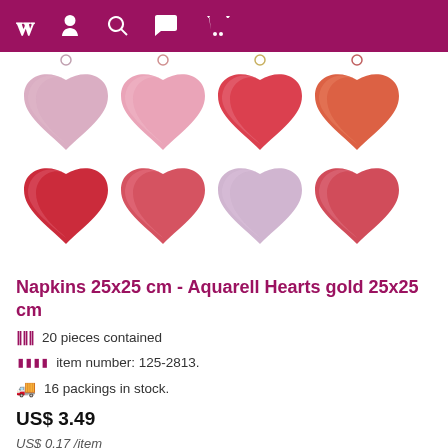Website navigation bar with logo and icons
[Figure (illustration): Eight watercolor heart illustrations in two rows: row 1 has pink, pink, red, orange-red hearts; row 2 has red, red-pink, lavender, red hearts, each with a small loop/hanger at the top]
Napkins 25x25 cm - Aquarell Hearts gold 25x25 cm
20 pieces contained
item number: 125-2813.
16 packings in stock.
US$ 3.49
US$ 0.17 /item
incl. taxes plus shipping costs